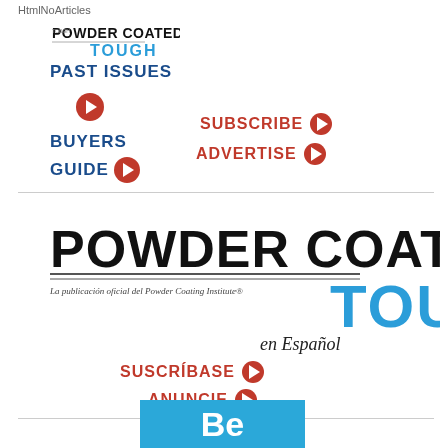HtmlNoArticles
[Figure (logo): Powder Coated Tough small logo]
PAST ISSUES
BUYERS GUIDE
SUBSCRIBE
ADVERTISE
[Figure (logo): Powder Coated Tough large logo with tagline 'La publicación oficial del Powder Coating Institute®' and 'en Español']
SUSCRÍBASE
ANUNCIE
[Figure (other): Blue box with white bold 'Be' text]